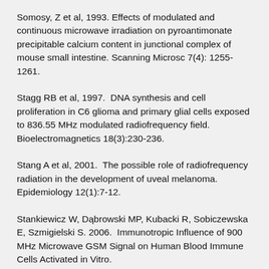Somosy, Z et al, 1993. Effects of modulated and continuous microwave irradiation on pyroantimonate precipitable calcium content in junctional complex of mouse small intestine. Scanning Microsc 7(4): 1255-1261.
Stagg RB et al, 1997.  DNA synthesis and cell proliferation in C6 glioma and primary glial cells exposed to 836.55 MHz modulated radiofrequency field.  Bioelectromagnetics 18(3):230-236.
Stang A et al, 2001.  The possible role of radiofrequency radiation in the development of uveal melanoma.  Epidemiology 12(1):7-12.
Stankiewicz W, Dąbrowski MP, Kubacki R, Sobiczewska E, Szmigielski S. 2006.  Immunotropic Influence of 900 MHz Microwave GSM Signal on Human Blood Immune Cells Activated in Vitro.